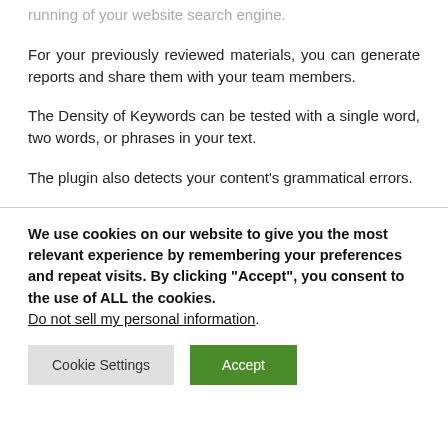running of your website search engine.
For your previously reviewed materials, you can generate reports and share them with your team members.
The Density of Keywords can be tested with a single word, two words, or phrases in your text.
The plugin also detects your content’s grammatical errors.
We use cookies on our website to give you the most relevant experience by remembering your preferences and repeat visits. By clicking “Accept”, you consent to the use of ALL the cookies.
Do not sell my personal information.
Cookie Settings
Accept